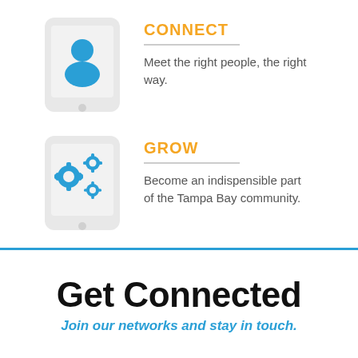[Figure (infographic): Tablet device icon with blue person/user silhouette inside, light gray rounded rectangle tablet shape]
CONNECT
Meet the right people, the right way.
[Figure (infographic): Tablet device icon with blue gear/cog icons inside, light gray rounded rectangle tablet shape]
GROW
Become an indispensible part of the Tampa Bay community.
Get Connected
Join our networks and stay in touch.